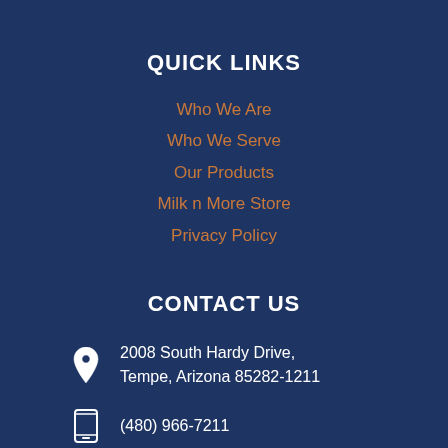QUICK LINKS
Who We Are
Who We Serve
Our Products
Milk n More Store
Privacy Policy
CONTACT US
2008 South Hardy Drive, Tempe, Arizona 85282-1211
(480) 966-7211